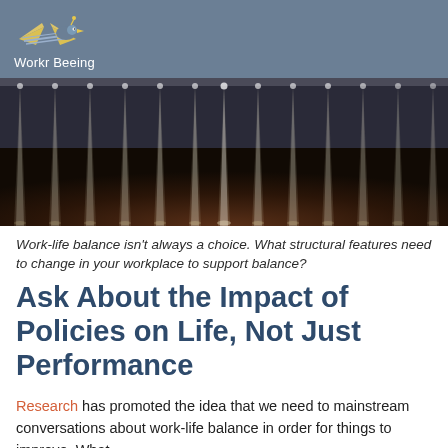Workr Beeing
[Figure (photo): Dark atmospheric photo showing rows of spotlights illuminating a dark stage or corridor floor, creating dramatic light columns on a brown/dark background.]
Work-life balance isn't always a choice. What structural features need to change in your workplace to support balance?
Ask About the Impact of Policies on Life, Not Just Performance
Research has promoted the idea that we need to mainstream conversations about work-life balance in order for things to improve. What